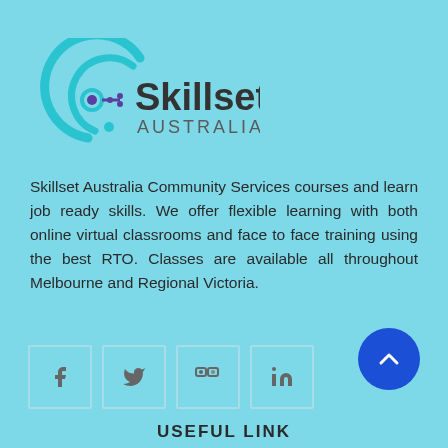[Figure (logo): Skillset Australia logo with circular arrow icon in cyan/blue and purple dot, text 'Skillset AUSTRALIA']
Skillset Australia Community Services courses and learn job ready skills. We offer flexible learning with both online virtual classrooms and face to face training using the best RTO. Classes are available all throughout Melbourne and Regional Victoria.
[Figure (infographic): Four social media icon boxes: Facebook (f), Twitter (bird), Flickr (camera/squares), LinkedIn (in)]
[Figure (illustration): Blue circular scroll-to-top button with upward chevron arrow]
USEFUL LINK